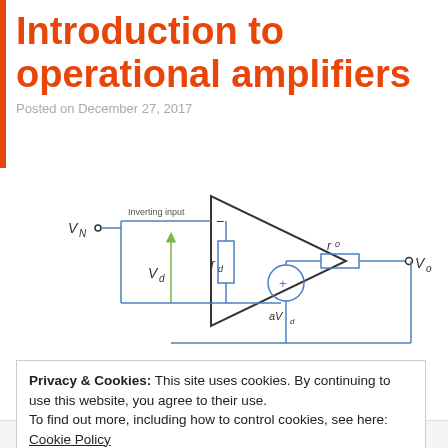Introduction to operational amplifiers
Posted on December 27, 2017
[Figure (circuit-diagram): Practical operational amplifier model circuit diagram showing inverting input VN, differential voltage Vd, differential resistance rd, dependent voltage source aVd, output resistance ro, and output voltage Vo. An op-amp triangle symbol is shown with inverting (-) and non-inverting (+) terminals.]
Privacy & Cookies: This site uses cookies. By continuing to use this website, you agree to their use.
To find out more, including how to control cookies, see here: Cookie Policy
Practical operation amplifier model.